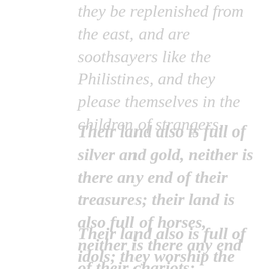they be replenished from the east, and are soothsayers like the Philistines, and they please themselves in the children of strangers.
Their land also is full of silver and gold, neither is there any end of their treasures; their land is also full of horses, neither is there any end of their chariots:
Their land also is full of idols; they worship the work of their own